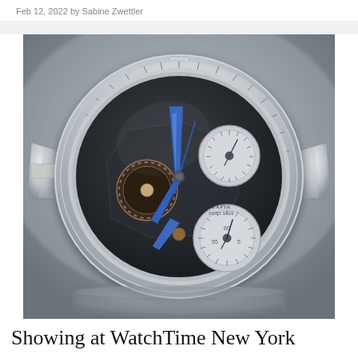Feb 12, 2022 by Sabine Zwettler
[Figure (photo): Close-up photograph of a skeleton mechanical watch with blue hands, exposed gear mechanisms, and multiple sub-dials, placed on a reflective metallic surface with blurred background.]
Showing at WatchTime New York